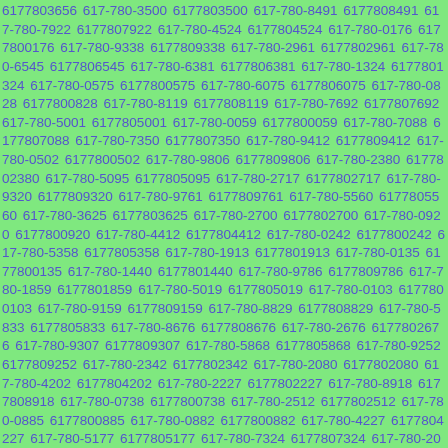6177803656 617-780-3500 6177803500 617-780-8491 6177808491 617-780-7922 6177807922 617-780-4524 6177804524 617-780-0176 6177800176 617-780-9338 6177809338 617-780-2961 6177802961 617-780-6545 6177806545 617-780-6381 6177806381 617-780-1324 6177801324 617-780-0575 6177800575 617-780-6075 6177806075 617-780-0828 6177800828 617-780-8119 6177808119 617-780-7692 6177807692 617-780-5001 6177805001 617-780-0059 6177800059 617-780-7088 6177807088 617-780-7350 6177807350 617-780-9412 6177809412 617-780-0502 6177800502 617-780-9806 6177809806 617-780-2380 6177802380 617-780-5095 6177805095 617-780-2717 6177802717 617-780-9320 6177809320 617-780-9761 6177809761 617-780-5560 6177805560 617-780-3625 6177803625 617-780-2700 6177802700 617-780-0920 6177800920 617-780-4412 6177804412 617-780-0242 6177800242 617-780-5358 6177805358 617-780-1913 6177801913 617-780-0135 6177800135 617-780-1440 6177801440 617-780-9786 6177809786 617-780-1859 6177801859 617-780-5019 6177805019 617-780-0103 6177800103 617-780-9159 6177809159 617-780-8829 6177808829 617-780-5833 6177805833 617-780-8676 6177808676 617-780-2676 6177802676 617-780-9307 6177809307 617-780-5868 6177805868 617-780-9252 6177809252 617-780-2342 6177802342 617-780-2080 6177802080 617-780-4202 6177804202 617-780-2227 6177802227 617-780-8918 6177808918 617-780-0738 6177800738 617-780-2512 6177802512 617-780-0885 6177800885 617-780-0882 6177800882 617-780-4227 6177804227 617-780-5177 6177805177 617-780-7324 6177807324 617-780-2038 6177802038 617-780-4576 6177804576 617-780-3782 6177803782 617-780-...